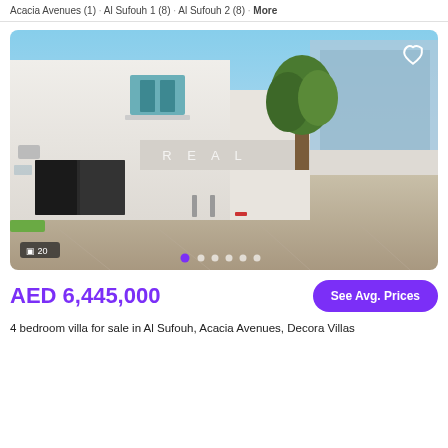Acacia Avenues (1) · Al Sufouh 1 (8) · Al Sufouh 2 (8) · More
[Figure (photo): Exterior photo of a modern white two-storey villa with large glass windows, a concrete driveway, a tree visible in the background, and a watermark reading 'R E A L' in the center. A heart icon is visible in the top right corner. Photo count badge shows 20. Navigation dots are shown at the bottom.]
AED 6,445,000
See Avg. Prices
4 bedroom villa for sale in Al Sufouh, Acacia Avenues, Decora Villas